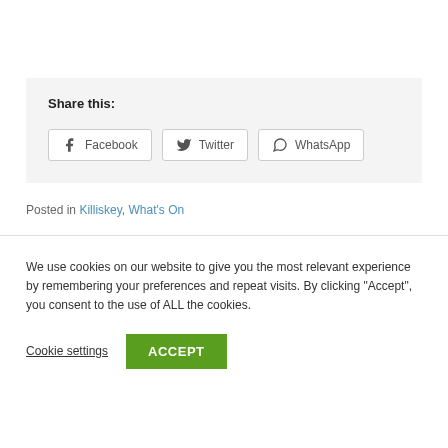Share this:
Facebook  Twitter  WhatsApp
Posted in Killiskey, What's On
We use cookies on our website to give you the most relevant experience by remembering your preferences and repeat visits. By clicking "Accept", you consent to the use of ALL the cookies.
Cookie settings  ACCEPT